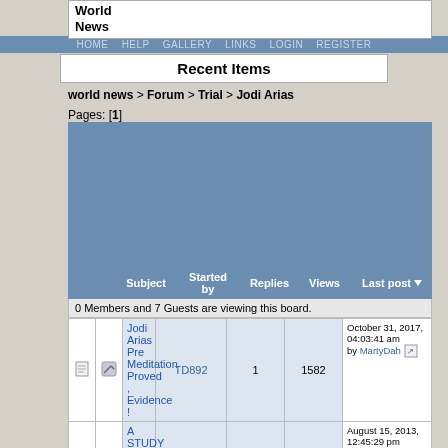World News
HOME  HELP  GALLERY  LINKS  LOGIN  REGISTER
Recent Items
world news > Forum > Trial > Jodi Arias
Pages: [1]
[Figure (screenshot): Advertisement/banner area with blue background]
|  |  | Subject | Started by | Replies | Views | Last post |
| --- | --- | --- | --- | --- | --- | --- |
|  |  | Jodi Arias Pre Meditation Proved , Evidence ! | TD892 | 1 | 1582 | October 31, 2017, 04:03:41 am by MartyDah |
|  |  | A STUDY OF THE IMAGES REFLECTED FROM THE CORNEA, | TD892 | 1 | 1806 | August 15, 2013, 12:45:29 pm by ElijahVargas |
0 Members and 7 Guests are viewing this board.